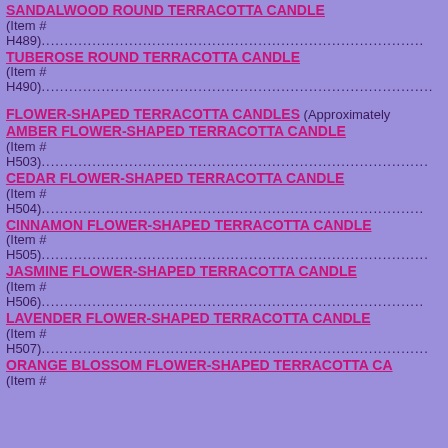SANDALWOOD ROUND TERRACOTTA CANDLE (Item # H489)...
TUBEROSE ROUND TERRACOTTA CANDLE (Item # H490)...
FLOWER-SHAPED TERRACOTTA CANDLES (Approximately
AMBER FLOWER-SHAPED TERRACOTTA CANDLE (Item # H503)...
CEDAR FLOWER-SHAPED TERRACOTTA CANDLE (Item # H504)...
CINNAMON FLOWER-SHAPED TERRACOTTA CANDLE (Item # H505)...
JASMINE FLOWER-SHAPED TERRACOTTA CANDLE (Item # H506)...
LAVENDER FLOWER-SHAPED TERRACOTTA CANDLE (Item # H507)...
ORANGE BLOSSOM FLOWER-SHAPED TERRACOTTA CA (Item #